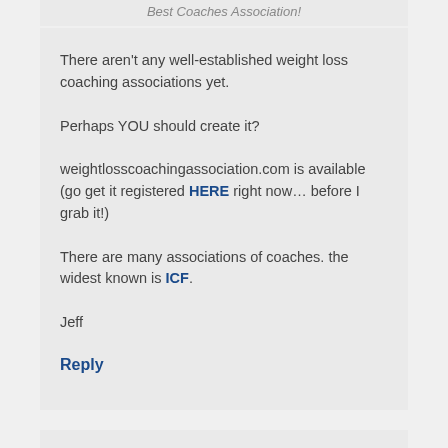Best Coaches Association!
There aren't any well-established weight loss coaching associations yet.
Perhaps YOU should create it?
weightlosscoachingassociation.com is available (go get it registered HERE right now… before I grab it!)
There are many associations of coaches. the widest known is ICF.
Jeff
Reply